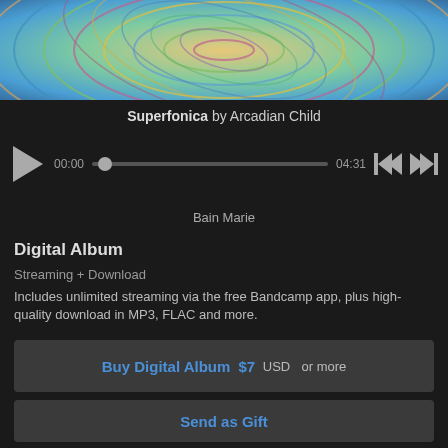[Figure (photo): Colorful psychedelic album art with swirling patterns in green, blue, pink and yellow tones — top portion of album cover for Superfonica by Arcadian Child]
Superfonica by Arcadian Child
[Figure (other): Music player controls: play button, time 00:00, scrubber bar, time 04:31, skip-back and skip-forward buttons]
Bain Marie
Digital Album
Streaming + Download
Includes unlimited streaming via the free Bandcamp app, plus high-quality download in MP3, FLAC and more.
Buy Digital Album  $7 USD  or more
Send as Gift